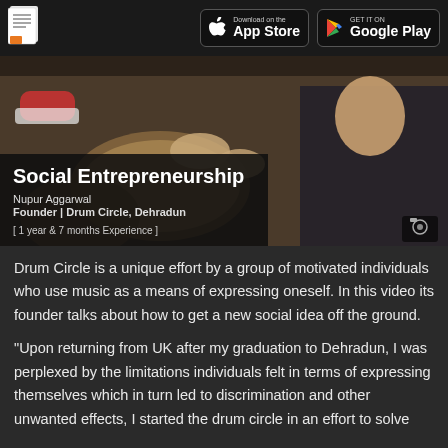App Store | Google Play
[Figure (photo): People playing drums in a drum circle, with a woman visible on the right side. Overlay text shows Social Entrepreneurship details.]
Social Entrepreneurship
Nupur Aggarwal
Founder | Drum Circle, Dehradun
[ 1 year & 7 months Experience ]
Drum Circle is a unique effort by a group of motivated individuals who use music as a means of expressing oneself. In this video its founder talks about how to get a new social idea off the ground.
"Upon returning from UK after my graduation to Dehradun, I was perplexed by the limitations individuals felt in terms of expressing themselves which in turn led to discrimination and other unwanted effects, I started the drum circle in an effort to solve